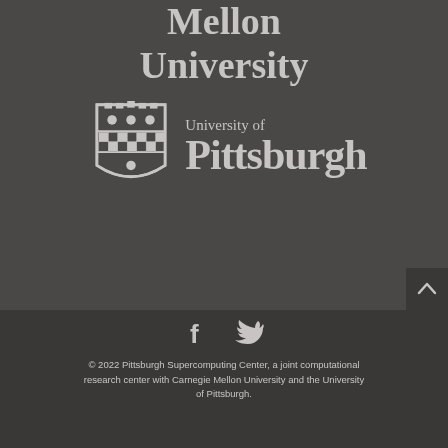[Figure (logo): Carnegie Mellon University text logo in light gray on dark gray background, showing 'Mellon University' in large serif bold font]
[Figure (logo): University of Pittsburgh logo with shield crest on left and 'University of Pittsburgh' text on right, light gray on dark gray background]
[Figure (other): Facebook and Twitter social media icons in light gray]
© 2022 Pittsburgh Supercomputing Center, a joint computational research center with Carnegie Mellon University and the University of Pittsburgh.